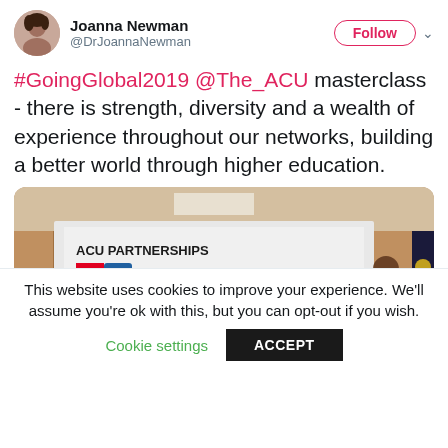[Figure (screenshot): Twitter profile header showing Joanna Newman (@DrJoannaNewman) with Follow button and dropdown caret]
#GoingGlobal2019 @The_ACU masterclass - there is strength, diversity and a wealth of experience throughout our networks, building a better world through higher education.
[Figure (photo): Conference room photo showing a projection screen displaying 'ACU PARTNERSHIPS' with logos for International Association of Universities (IAU), AUF, a United Nations globe emblem, and UNESCO (United Nations Educational, Scientific and Cultural Organization). A person in a suit is visible to the right.]
This website uses cookies to improve your experience. We'll assume you're ok with this, but you can opt-out if you wish.
Cookie settings   ACCEPT